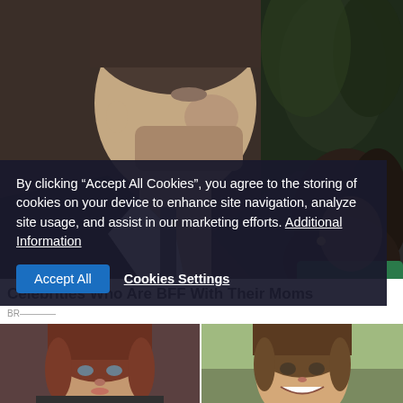[Figure (photo): Top photo showing a man in dark suit looking down at a woman with long dark hair, indoor setting with dark background and green plant visible on right side.]
By clicking “Accept All Cookies”, you agree to the storing of cookies on your device to enhance site navigation, analyze site usage, and assist in our marketing efforts. Additional Information
Celebrities Who Are BFF With Their Moms
BR—
[Figure (photo): Bottom left: young woman with reddish-brown hair, professional headshot style.]
[Figure (photo): Bottom right: smiling young girl with brown hair, outdoors.]